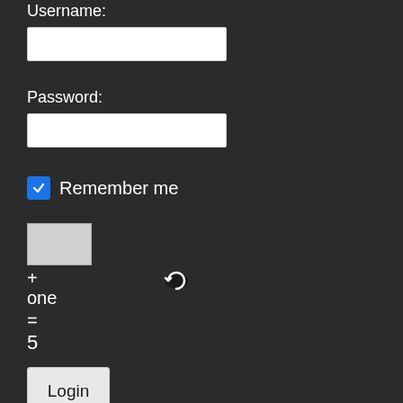Username:
[Figure (screenshot): Username input text field (white rectangle)]
Password:
[Figure (screenshot): Password input text field (white rectangle)]
Remember me
[Figure (screenshot): Captcha image box (grey rectangle)]
+
one
[Figure (screenshot): Refresh/reload captcha icon]
=
5
[Figure (screenshot): Login button]